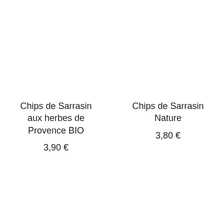Chips de Sarrasin aux herbes de Provence BIO
3,90 €
Chips de Sarrasin Nature
3,80 €